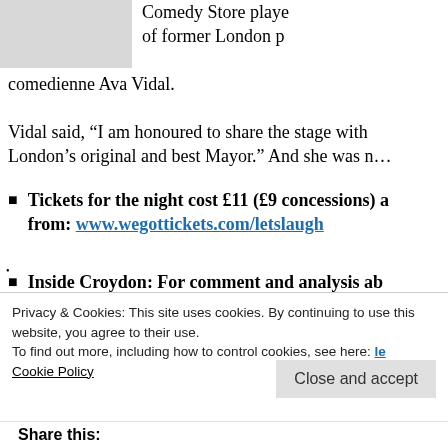Comedy Store playe of former London p comedienne Ava Vidal.
Vidal said, “I am honoured to share the stage with London’s original and best Mayor.” And she was n…
Tickets for the night cost £11 (£9 concessions) a from: www.wegottickets.com/letslaugh
Inside Croydon: For comment and analysis ab Croydon – 267,670 page views (Nov 2012-Apr …
Privacy & Cookies: This site uses cookies. By continuing to use this website, you agree to their use. To find out more, including how to control cookies, see here: Cookie Policy
Close and accept
Share this: